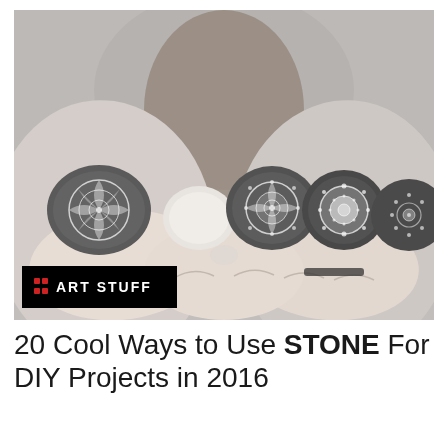[Figure (photo): Hands holding five dark stones with intricate white mandala patterns painted on them. Person is wearing a grey long-sleeve shirt. An 'ART STUFF' label with red dots appears in the lower-left corner of the photo.]
20 Cool Ways to Use STONE For DIY Projects in 2016